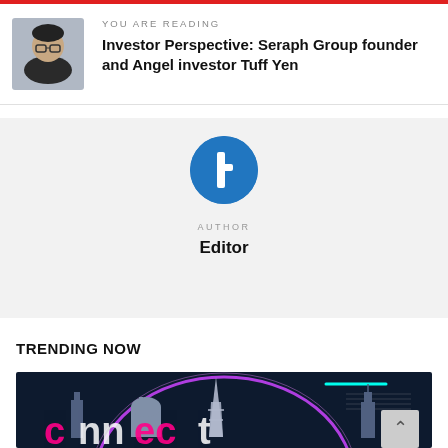YOU ARE READING
Investor Perspective: Seraph Group founder and Angel investor Tuff Yen
AUTHOR
Editor
TRENDING NOW
[Figure (illustration): Dark background illustration with purple neon ring glowing arc, city skyline silhouettes including Eiffel Tower and other landmarks, colorful typography at the bottom spelling what appears to be a conference or event name, with cyan accent lines in the top right corner.]